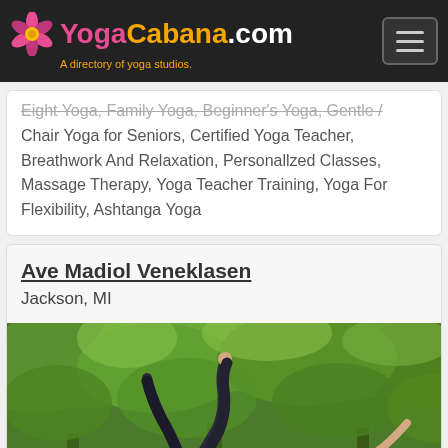YogaCabana.com — A directory of yoga studios.
Eight Yoga, Family Yoga, Beginner's Yoga, Gentle / Chair Yoga for Seniors, Certified Yoga Teacher, Breathwork And Relaxation, Personallzed Classes, Massage Therapy, Yoga Teacher Training, Yoga For Flexibility, Ashtanga Yoga
Ave Madiol Veneklasen
Jackson, MI
[Figure (photo): Outdoor photo of a blonde woman performing a yoga pose among green trees, with her leg raised and torso arched backward]